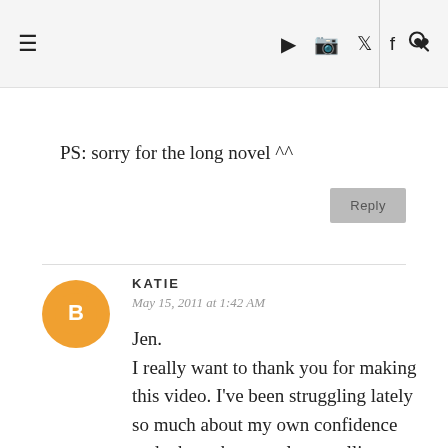[Figure (screenshot): Website navigation bar with hamburger menu icon, social media icons (YouTube, Instagram, Twitter, Facebook, heart), a vertical divider, and a search icon on a light gray background.]
PS: sorry for the long novel ^^
Reply
KATIE
May 15, 2011 at 1:42 AM
Jen.
I really want to thank you for making this video. I've been struggling lately so much about my own confidence and what other people are telling me about me. I feel like I'm